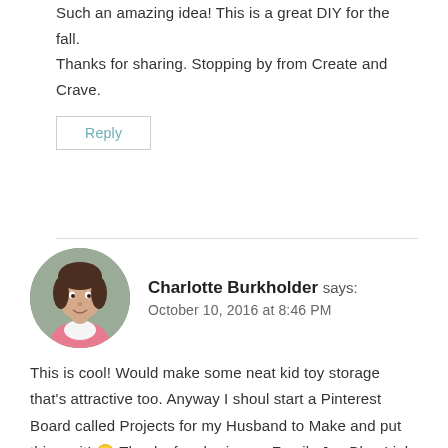Such an amazing idea! This is a great DIY for the fall. Thanks for sharing. Stopping by from Create and Crave.
Reply
Charlotte Burkholder says:
October 10, 2016 at 8:46 PM
[Figure (photo): Circular avatar photo of Charlotte Burkholder, a woman with dark hair wearing a pink top]
This is cool! Would make some neat kid toy storage that's attractive too. Anyway I shoul start a Pinterest Board called Projects for my Husband to Make and put this on it! 🙂 Thanks for sharing on Family Joy Blog Link-up. Please come back and join us again!